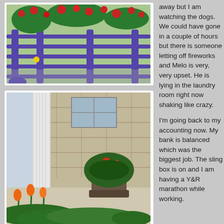[Figure (photo): Photo of a purple metal bench/cart with red flowering plants on top, viewed outdoors]
[Figure (photo): Photo of a front porch with a white column, a potted plant with orange/red flowers, and orange tulips in a garden bed below]
away but I am watching the dogs. We could have gone in a couple of hours but there is someone letting off fireworks and Melo is very, very upset. He is lying in the laundry room right now shaking like crazy.
I'm going back to my accounting now. My bank is balanced which was the biggest job. The sling box is on and I am having a Y&R marathon while working.